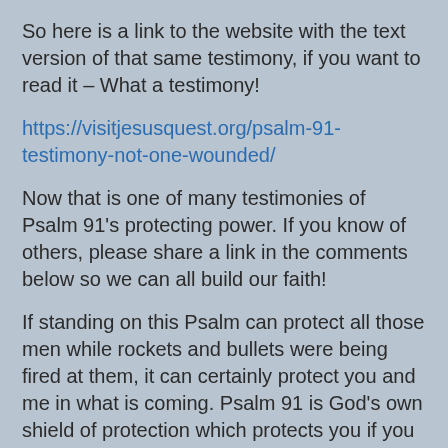So here is a link to the website with the text version of that same testimony, if you want to read it – What a testimony!
https://visitjesusquest.org/psalm-91-testimony-not-one-wounded/
Now that is one of many testimonies of Psalm 91's protecting power. If you know of others, please share a link in the comments below so we can all build our faith!
If standing on this Psalm can protect all those men while rockets and bullets were being fired at them, it can certainly protect you and me in what is coming. Psalm 91 is God's own shield of protection which protects you if you believe.
How to Get Psalm 91's protection to work for you:  Quote it – out loud – daily is best. You release your faith into a situation by speaking, when you speak